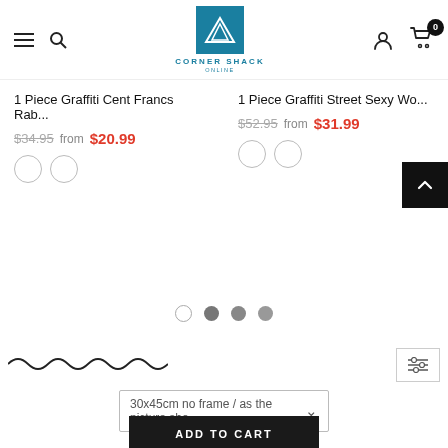[Figure (logo): Corner Shack Online logo with teal square containing white triangle/mountain icon, text CORNER SHACK ONLINE below]
1 Piece Graffiti Cent Francs Rab...
$34.95  from  $20.99
1 Piece Graffiti Street Sexy Wo...
$52.95  from  $31.99
30x45cm no frame /  as the picture sho...
ADD TO CART